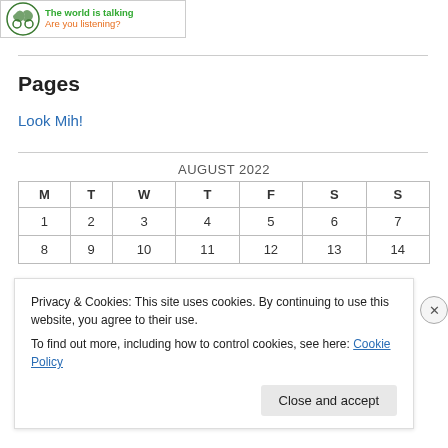[Figure (logo): Logo with green icon and text 'The world is talking Are you listening?' in green and orange]
Pages
Look Mih!
| M | T | W | T | F | S | S |
| --- | --- | --- | --- | --- | --- | --- |
| 1 | 2 | 3 | 4 | 5 | 6 | 7 |
| 8 | 9 | 10 | 11 | 12 | 13 | 14 |
Privacy & Cookies: This site uses cookies. By continuing to use this website, you agree to their use.
To find out more, including how to control cookies, see here: Cookie Policy
Close and accept